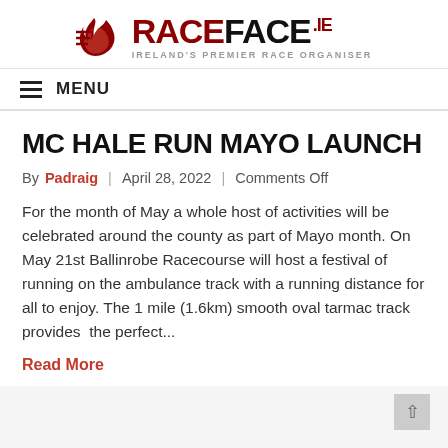[Figure (logo): RaceFace.ie logo with flame icon, red and black text, tagline IRELAND'S PREMIER RACE ORGANISER]
MENU
MC HALE RUN MAYO LAUNCH
By Padraig | April 28, 2022 | Comments Off
For the month of May a whole host of activities will be celebrated around the county as part of Mayo month. On May 21st Ballinrobe Racecourse will host a festival of running on the ambulance track with a running distance for all to enjoy. The 1 mile (1.6km) smooth oval tarmac track provides  the perfect...
Read More